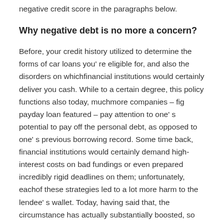negative credit score in the paragraphs below.
Why negative debt is no more a concern?
Before, your credit history utilized to determine the forms of car loans you' re eligible for, and also the disorders on whichfinancial institutions would certainly deliver you cash. While to a certain degree, this policy functions also today, muchmore companies – fig payday loan featured – pay attention to one' s potential to pay off the personal debt, as opposed to one' s previous borrowing record. Some time back, financial institutions would certainly demand high-interest costs on bad fundings or even prepared incredibly rigid deadlines on them; unfortunately, eachof these strategies led to a lot more harm to the lendee' s wallet. Today, having said that, the circumstance has actually substantially boosted, so anybody along witha task can borrow funds as well as – extra essentially – simply repay this financial debt in the local future.